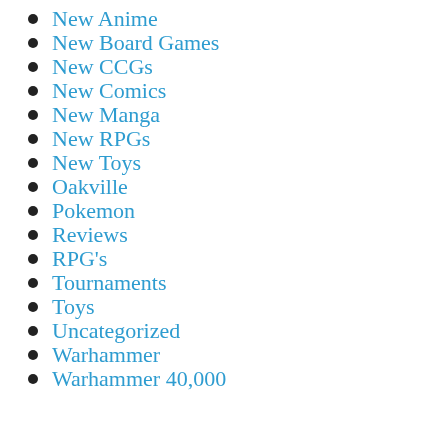New Anime
New Board Games
New CCGs
New Comics
New Manga
New RPGs
New Toys
Oakville
Pokemon
Reviews
RPG's
Tournaments
Toys
Uncategorized
Warhammer
Warhammer 40,000